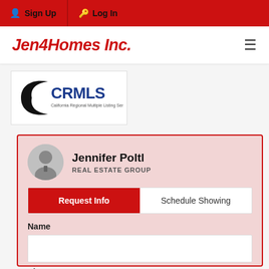Sign Up | Log In
Jen4Homes Inc.
[Figure (logo): CRMLS - California Regional Multiple Listing Service, Inc. logo with black swoosh]
Jennifer Poltl
REAL ESTATE GROUP
Request Info | Schedule Showing
Name
Ph